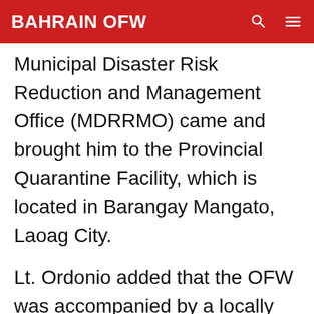BAHRAIN OFW
Municipal Disaster Risk Reduction and Management Office (MDRRMO) came and brought him to the Provincial Quarantine Facility, which is located in Barangay Mangato, Laoag City.
Lt. Ordonio added that the OFW was accompanied by a locally stranded individual (LSI) who was also on his way to Pasuquin. The LSI, who is